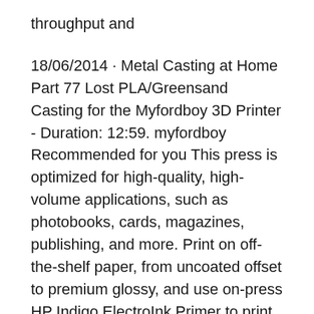throughput and
18/06/2014 · Metal Casting at Home Part 77 Lost PLA/Greensand Casting for the Myfordboy 3D Printer - Duration: 12:59. myfordboy Recommended for you This press is optimized for high-quality, high-volume applications, such as photobooks, cards, magazines, publishing, and more. Print on off-the-shelf paper, from uncoated offset to premium glossy, and use on-press HP Indigo ElectroInk Primer to print on non-certified paper.
HP, HP Indigo Press, HP Indigo Press RIP et HP ElectroInk sont des marques ou des marques déposées de HP. Adobe® PostScript® est une marque d'Adobe Systems Incorporated. MS